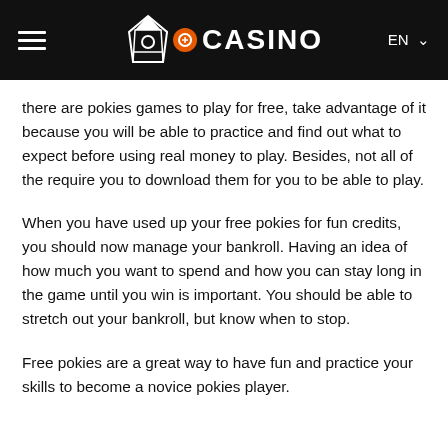≡  [Knight Casino Logo] ⊕CASINO  EN ∨
there are pokies games to play for free, take advantage of it because you will be able to practice and find out what to expect before using real money to play. Besides, not all of the require you to download them for you to be able to play.
When you have used up your free pokies for fun credits, you should now manage your bankroll. Having an idea of how much you want to spend and how you can stay long in the game until you win is important. You should be able to stretch out your bankroll, but know when to stop.
Free pokies are a great way to have fun and practice your skills to become a novice pokies player.